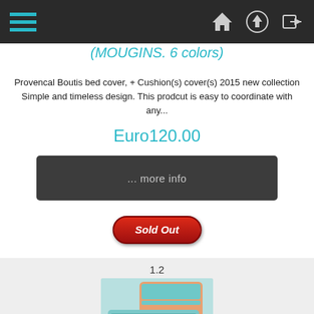Navigation bar with hamburger menu and icons
(MOUGINS. 6 colors)
Provencal Boutis bed cover, + Cushion(s) cover(s) 2015 new collection
Simple and timeless design. This prodcut is easy to coordinate with any...
Euro120.00
... more info
[Figure (other): Sold Out button in red]
1.2
[Figure (photo): Product photo of Provencal Boutis bed cover bedspread in teal/orange pattern]
Provencal Boutis bed cover, bedspread (NOMADE. 4 colors)